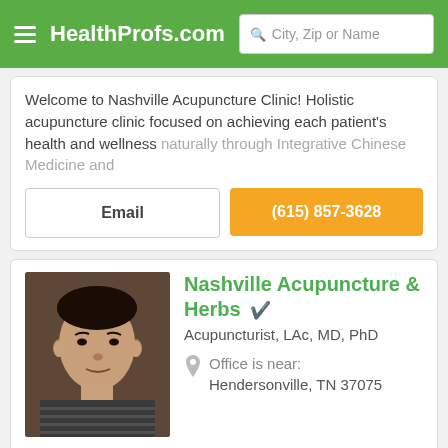HealthProfs.com — City, Zip or Name
Welcome to Nashville Acupuncture Clinic! Holistic acupuncture clinic focused on achieving each patient's health and wellness naturally through Integrative Chinese Medicine and
Email
(615) 857-3628
Nashville Acupuncture & Herbs
Acupuncturist, LAc, MD, PhD
Office is near: Hendersonville, TN 37075
I received my Traditional Chinese Medicine degree at Shandong University of TCM in a 5 years systematic program from 1986 to 1991. Since then I practiced TCM at Jinan TCM hospital I have